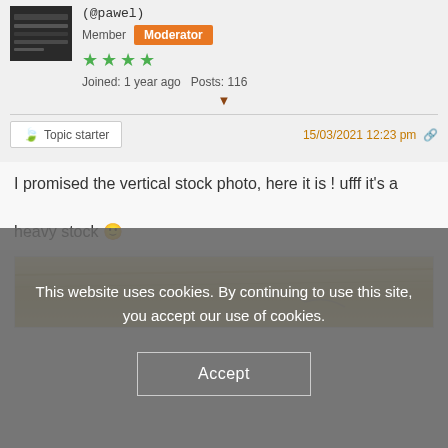(@pawel)
Member  Moderator
[Figure (other): Four green star rating icons]
Joined: 1 year ago   Posts: 116
▼
Topic starter   15/03/2021 12:23 pm  🔗
I promised the vertical stock photo, here it is ! ufff it's a heavy stock 🙂
[Figure (photo): Partial view of a vertical stock photo with golden/cream tones]
This website uses cookies. By continuing to use this site, you accept our use of cookies.
Accept